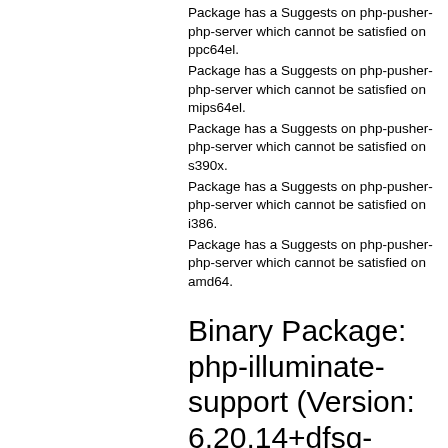Package has a Suggests on php-pusher-php-server which cannot be satisfied on ppc64el.
Package has a Suggests on php-pusher-php-server which cannot be satisfied on mips64el.
Package has a Suggests on php-pusher-php-server which cannot be satisfied on s390x.
Package has a Suggests on php-pusher-php-server which cannot be satisfied on i386.
Package has a Suggests on php-pusher-php-server which cannot be satisfied on amd64.
Binary Package: php-illuminate-support (Version: 6.20.14+dfsg-2+deb11u1)